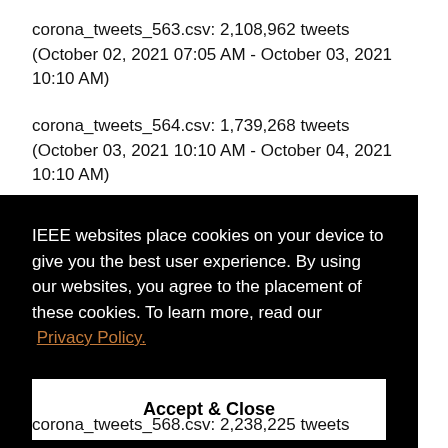corona_tweets_563.csv: 2,108,962 tweets (October 02, 2021 07:05 AM - October 03, 2021 10:10 AM)
corona_tweets_564.csv: 1,739,268 tweets (October 03, 2021 10:10 AM - October 04, 2021 10:10 AM)
corona_tweets_565.csv: 1,909,160 tweets
IEEE websites place cookies on your device to give you the best user experience. By using our websites, you agree to the placement of these cookies. To learn more, read our Privacy Policy.
Accept & Close
corona_tweets_568.csv: 2,238,225 tweets